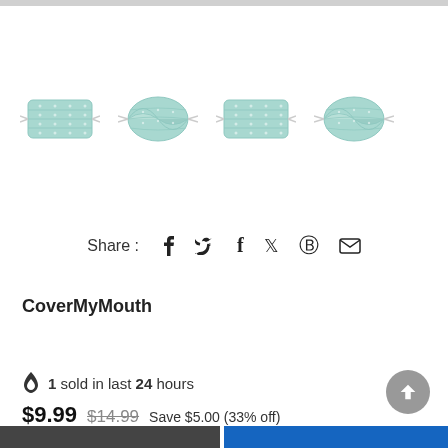[Figure (photo): Four teal/mint patterned face masks shown in two flat and two folded/3D views]
Share :  f  𝕐  ℗  ✉
CoverMyMouth
🔥 1 sold in last 24 hours
$9.99  $14.99  Save $5.00 (33% off)